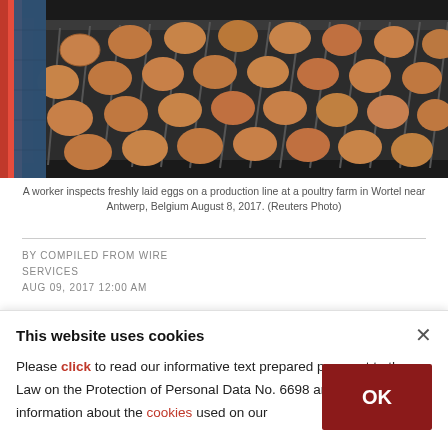[Figure (photo): A worker inspects freshly laid eggs on a conveyor belt production line at a poultry farm. Brown eggs are visible on a metal roller conveyor. The worker is wearing jeans and standing to the left.]
A worker inspects freshly laid eggs on a production line at a poultry farm in Wortel near Antwerp, Belgium August 8, 2017. (Reuters Photo)
BY COMPILED FROM WIRE SERVICES
AUG 09, 2017 12:00 AM
Belgian investigators have found eggs with dangerous levels of the insecticide fipronil.
This website uses cookies
Please click to read our informative text prepared pursuant to the Law on the Protection of Personal Data No. 6698 and to get information about the cookies used on our